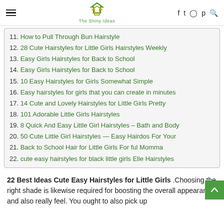The Shiny Ideas
11. How to Pull Through Bun Hairstyle
12. 28 Cute Hairstyles for Little Girls Hairstyles Weekly
13. Easy Girls Hairstyles for Back to School
14. Easy Girls Hairstyles for Back to School
15. 10 Easy Hairstyles for Girls Somewhat Simple
16. Easy hairstyles for girls that you can create in minutes
17. 14 Cute and Lovely Hairstyles for Little Girls Pretty
18. 101 Adorable Little Girls Hairstyles
19. 8 Quick And Easy Little Girl Hairstyles – Bath and Body
20. 50 Cute Little Girl Hairstyles — Easy Hairdos For Your
21. Back to School Hair for Little Girls For ful Momma
22. cute easy hairstyles for black little girls Elle Hairstyles
22 Best Ideas Cute Easy Hairstyles for Little Girls .Choosing the right shade is likewise required for boosting the overall appearance and also really feel. You ought to also pick up